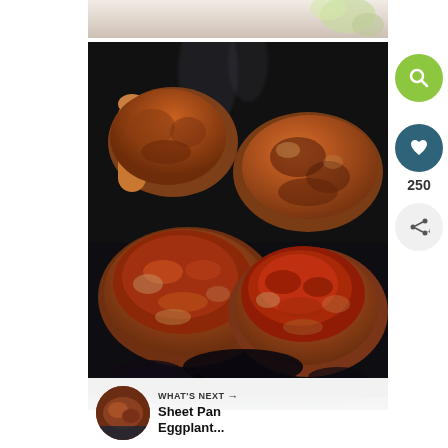[Figure (photo): Partial top strip of a previous image showing blurred floral background]
[Figure (photo): Crispy breaded chicken pieces in a dark cast iron skillet, viewed close-up. The chicken has a golden-brown to reddish-brown crust with seasoning visible. Multiple pieces are shown crowded in the pan.]
[Figure (photo): Small circular thumbnail of Sheet Pan Eggplant dish for the 'What's Next' recommendation panel]
250
WHAT'S NEXT → Sheet Pan Eggplant...